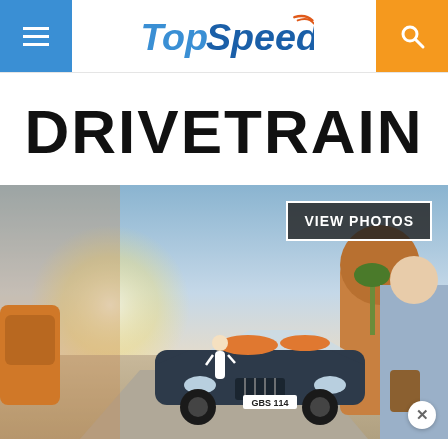TopSpeed - menu and search buttons
DRIVETRAIN
[Figure (photo): Luxury convertible Rolls-Royce car (license plate GBS 114) parked on a scenic road with a woman in a white dress beside it and a man in a suit on the right. Sunny warm outdoor setting. VIEW PHOTOS button overlay.]